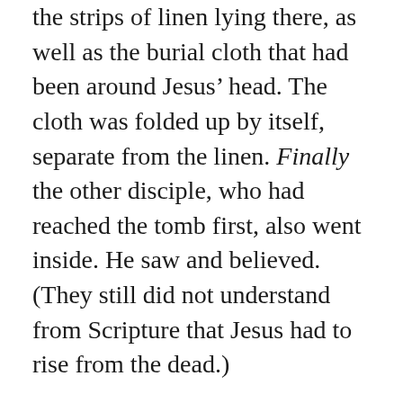the strips of linen lying there, as well as the burial cloth that had been around Jesus' head. The cloth was folded up by itself, separate from the linen. Finally the other disciple, who had reached the tomb first, also went inside. He saw and believed. (They still did not understand from Scripture that Jesus had to rise from the dead.)
Then the disciples went back to their homes, but Mary stood outside the tomb crying. As she wept, she bent over to look into the tomb and saw two angels in white, seated where Jesus' body had been, one at the head and the other at the foot.
They asked her, “Woman, why are you crying?”
“They have taken my Lord away,” she said, “and I don't know where they have put him.” At this, she